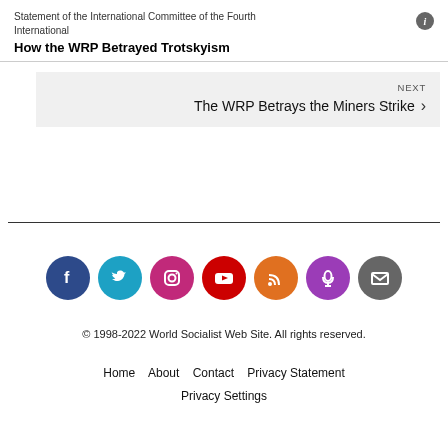Statement of the International Committee of the Fourth International
How the WRP Betrayed Trotskyism
NEXT
The WRP Betrays the Miners Strike
[Figure (infographic): Seven social media icon circles: Facebook (dark blue), Twitter (cyan), Instagram (pink/magenta), YouTube (red), RSS (orange), Podcast (purple), Email (gray)]
© 1998-2022 World Socialist Web Site. All rights reserved.
Home   About   Contact   Privacy Statement
Privacy Settings